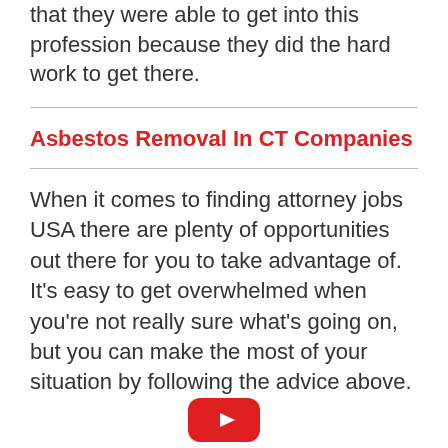that they were able to get into this profession because they did the hard work to get there.
Asbestos Removal In CT Companies
When it comes to finding attorney jobs USA there are plenty of opportunities out there for you to take advantage of. It’s easy to get overwhelmed when you’re not really sure what’s going on, but you can make the most of your situation by following the advice above.
[Figure (logo): Red YouTube play button icon at the bottom center of the page]